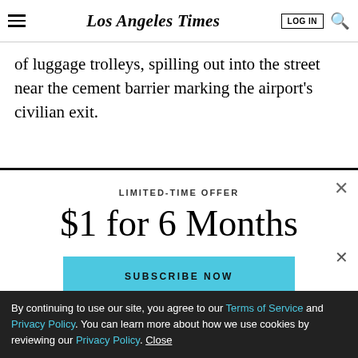Los Angeles Times
of luggage trolleys, spilling out into the street near the cement barrier marking the airport's civilian exit.
LIMITED-TIME OFFER
$1 for 6 Months
SUBSCRIBE NOW
By continuing to use our site, you agree to our Terms of Service and Privacy Policy. You can learn more about how we use cookies by reviewing our Privacy Policy. Close